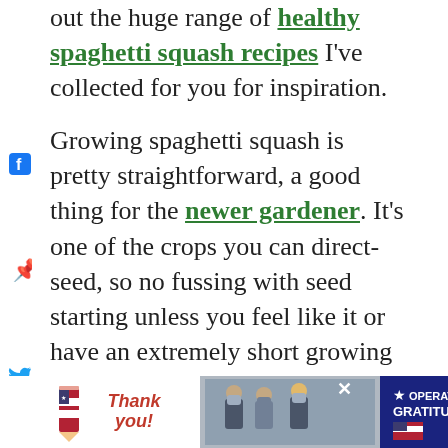out the huge range of healthy spaghetti squash recipes I've collected for you for inspiration.

Growing spaghetti squash is pretty straightforward, a good thing for the newer gardener. It's one of the crops you can direct-seed, so no fussing with seed starting unless you feel like it or have an extremely short growing season. I'm in zone 4, and direct-seeding works fine here, though our last frost date isn't usually till May.
[Figure (screenshot): Advertisement banner at bottom of page showing Operation Gratitude with thank you imagery and military photos]